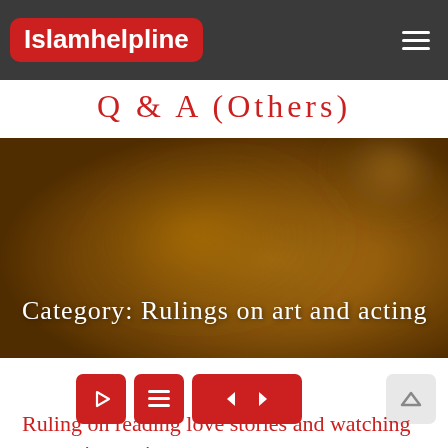Islamhelpline
Q & A (Others)
[Figure (photo): Blurred warm brown/amber bokeh background with 'Category: Rulings on art and acting' text overlay]
Category: Rulings on art and acting
Ruling on reading love stories and watching romantic movies